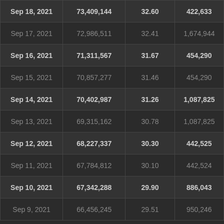| Sep 18, 2021 | 73,409,144 | 32.60 | 422,633 |
| Sep 17, 2021 | 72,986,511 | 32.41 | 1,674,944 |
| Sep 16, 2021 | 71,311,567 | 31.67 | 454,290 |
| Sep 15, 2021 | 70,857,277 | 31.46 | 454,290 |
| Sep 14, 2021 | 70,402,987 | 31.26 | 1,087,825 |
| Sep 13, 2021 | 69,315,162 | 30.78 | 1,087,825 |
| Sep 12, 2021 | 68,227,337 | 30.30 | 442,525 |
| Sep 11, 2021 | 67,784,812 | 30.10 | 442,524 |
| Sep 10, 2021 | 67,342,288 | 29.90 | 886,043 |
| Sep 9, 2021 | 66,456,245 | 29.51 | 950,246 |